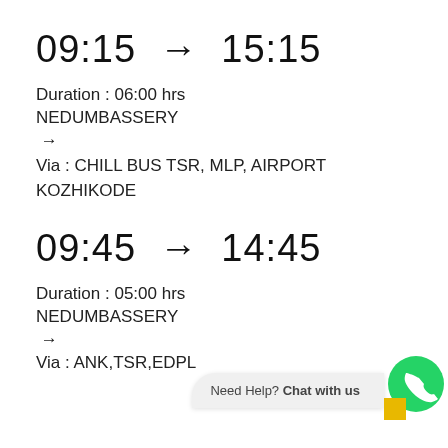09:15 → 15:15
Duration : 06:00 hrs
NEDUMBASSERY
→
Via : CHILL BUS TSR, MLP, AIRPORT KOZHIKODE
09:45 → 14:45
Duration : 05:00 hrs
NEDUMBASSERY
→
Via : ANK,TSR,EDPL
[Figure (other): WhatsApp 'Need Help? Chat with us' widget with green WhatsApp icon button]